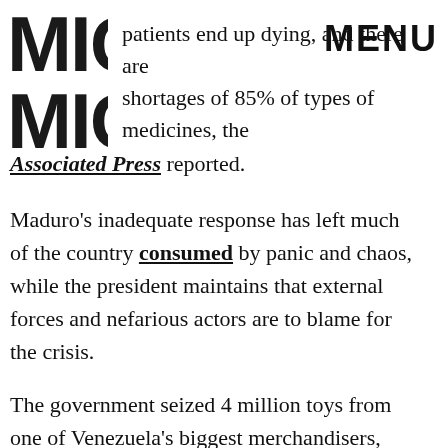[Figure (logo): MIC logo, bold stylized letters M-I-C stacked, dark/black]
MENU
hospital patients end up dying, and there are shortages of 85% of types of medicines, the Associated Press reported.
Maduro's inadequate response has left much of the country consumed by panic and chaos, while the president maintains that external forces and nefarious actors are to blame for the crisis.
The government seized 4 million toys from one of Venezuela's biggest merchandisers, Kreisel, on Friday, for example, alleging the company had been systematically amassing and hiding toys in order to mark up the prices by 54,000%, according to the Miami Herald. The government plans on selling those